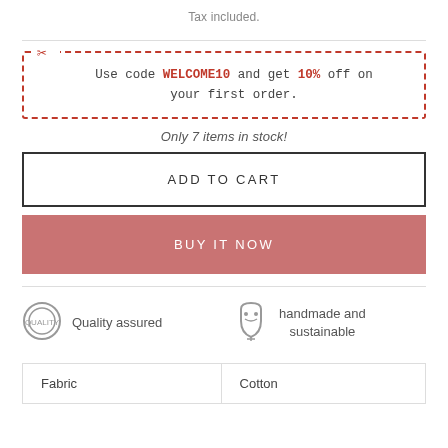Tax included.
Use code WELCOME10 and get 10% off on your first order.
Only 7 items in stock!
ADD TO CART
BUY IT NOW
Quality assured
handmade and sustainable
| Fabric | Cotton |
| --- | --- |